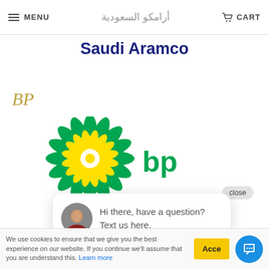MENU | أرامكو السعودية | CART
[Figure (logo): Saudi Aramco text logo in dark blue bold font]
BP
[Figure (logo): BP sunflower logo with green and yellow petals and 'bp' green text]
close
Hi there, have a question? Text us here.
Jaeger-LeCoultre
We use cookies to ensure that we give you the best experience on our website. If you continue we'll assume that you are understand this. Learn more
Acce